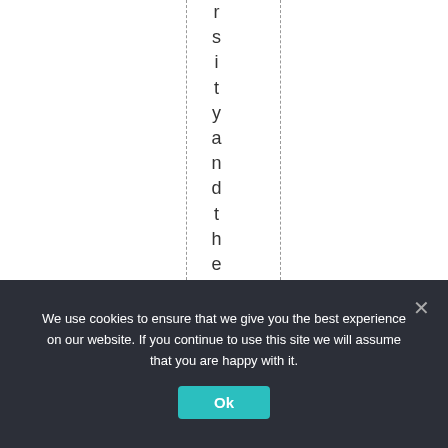rsityandtheRoyalSo
We use cookies to ensure that we give you the best experience on our website. If you continue to use this site we will assume that you are happy with it.